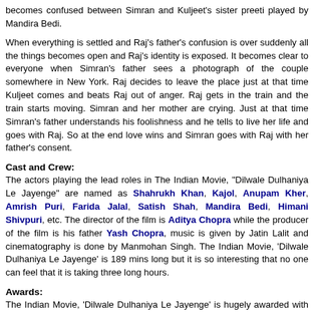becomes confused between Simran and Kuljeet's sister preeti played by Mandira Bedi.
When everything is settled and Raj's father's confusion is over suddenly all the things becomes open and Raj's identity is exposed. It becomes clear to everyone when Simran's father sees a photograph of the couple somewhere in New York. Raj decides to leave the place just at that time Kuljeet comes and beats Raj out of anger. Raj gets in the train and the train starts moving. Simran and her mother are crying. Just at that time Simran's father understands his foolishness and he tells to live her life and goes with Raj. So at the end love wins and Simran goes with Raj with her father's consent.
Cast and Crew:
The actors playing the lead roles in The Indian Movie, "Dilwale Dulhaniya Le Jayenge" are named as Shahrukh Khan, Kajol, Anupam Kher, Amrish Puri, Farida Jalal, Satish Shah, Mandira Bedi, Himani Shivpuri, etc. The director of the film is Aditya Chopra while the producer of the film is his father Yash Chopra, music is given by Jatin Lalit and cinematography is done by Manmohan Singh. The Indian Movie, 'Dilwale Dulhaniya Le Jayenge' is 189 mins long but it is so interesting that no one can feel that it is taking three long hours.
Awards:
The Indian Movie, 'Dilwale Dulhaniya Le Jayenge' is hugely awarded with ten filmfare awards in the year 1996. It has got award in different heads including best movie, best director, best actor, best actress, best supporting actress, best comedian, best lyricist, best screenplay, be